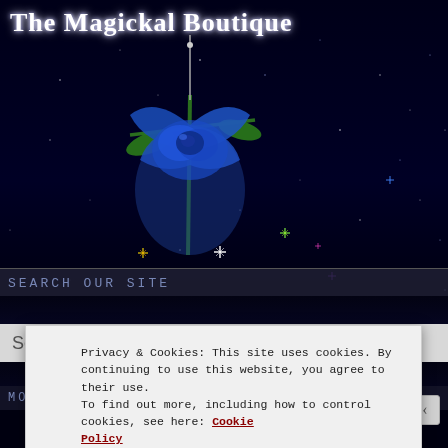The Magickal Boutique
[Figure (photo): Blue rose against a dark starfield background]
SEARCH OUR SITE
Search ...
MONTHLY CALENDAR
Privacy & Cookies: This site uses cookies. By continuing to use this website, you agree to their use.
To find out more, including how to control cookies, see here: Cookie Policy
Close and accept